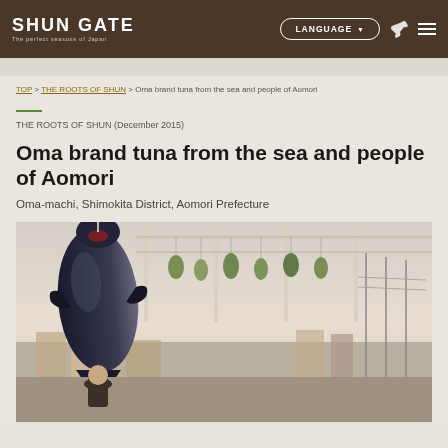SHUN GATE — The perfect seasons of Japan | LANGUAGE | navigation
TOP > THE ROOTS OF SHUN > Oma brand tuna from the sea and people of Aomori
THE ROOTS OF SHUN (December 2015)
Oma brand tuna from the sea and people of Aomori
Oma-machi, Shimokita District, Aomori Prefecture
[Figure (photo): Large bluefin tuna hanging from a fishing rack at a harbor, with a person visible below and fishing equipment/lures visible on the rack. Harbor and town visible in background.]